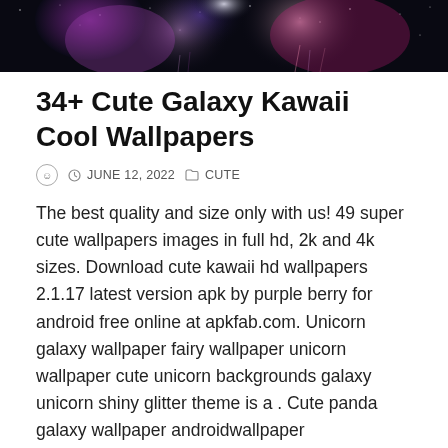[Figure (photo): Galaxy/space themed banner image with colorful jellyfish-like glowing creatures against a dark starry background, featuring pink, purple, and blue hues.]
34+ Cute Galaxy Kawaii Cool Wallpapers
© JUNE 12, 2022  CUTE
The best quality and size only with us! 49 super cute wallpapers images in full hd, 2k and 4k sizes. Download cute kawaii hd wallpapers 2.1.17 latest version apk by purple berry for android free online at apkfab.com. Unicorn galaxy wallpaper fairy wallpaper unicorn wallpaper cute unicorn backgrounds galaxy unicorn shiny glitter theme is a . Cute panda galaxy wallpaper androidwallpaper iphonewallpaper · cute kawaii icecream galaxy wallpaper androidwallpaper · girly unicorn galaxy made by me purple .